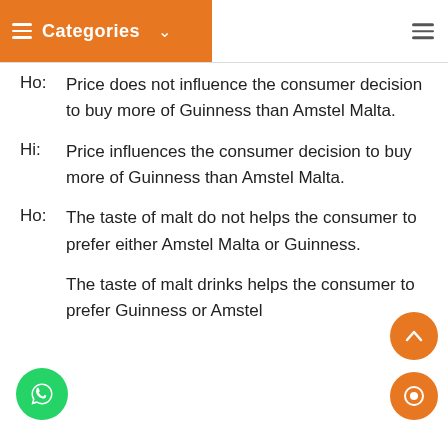Categories
Ho:   Price does not influence the consumer decision to buy more of Guinness than Amstel Malta.
Hi:    Price influences the consumer decision to buy more of Guinness than Amstel Malta.
Ho:  The taste of malt do not helps the consumer to prefer either Amstel Malta or Guinness.
Hi:    The taste of malt drinks helps the consumer to prefer Guinness or Amstel